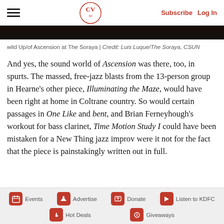CV SF | Subscribe  Log In
wild Up/of Ascension at The Soraya | Credit: Luis Luque/The Soraya, CSUN
And yes, the sound world of Ascension was there, too, in spurts. The massed, free-jazz blasts from the 13-person group in Hearne’s other piece, Illuminating the Maze, would have been right at home in Coltrane country. So would certain passages in One Like and bent, and Brian Ferneyhough’s workout for bass clarinet, Time Motion Study I could have been mistaken for a New Thing jazz improv were it not for the fact that the piece is painstakingly written out in full.
Events  Advertise  Donate  Listen to KDFC  Hot Deals  Giveaways